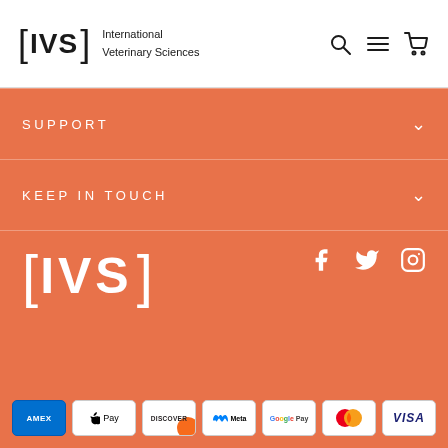[Figure (logo): IVS International Veterinary Sciences logo with search, menu, and cart icons in header]
SUPPORT
KEEP IN TOUCH
[Figure (logo): IVS logo in white on orange background with Facebook, Twitter, Instagram social icons]
[Figure (infographic): Payment method icons: American Express, Apple Pay, Discover, Meta, Google Pay, Mastercard, Visa]